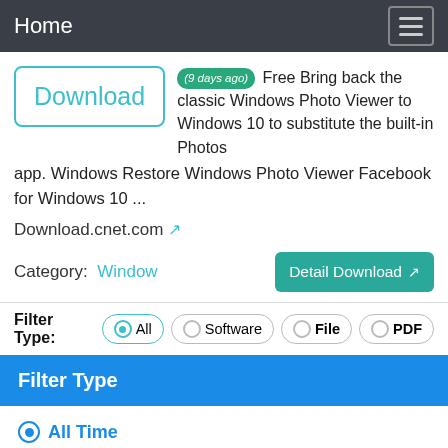Home
[Figure (screenshot): Download button with teal border showing the word Download in teal text]
(9 days ago) Free Bring back the classic Windows Photo Viewer to Windows 10 to substitute the built-in Photos app. Windows Restore Windows Photo Viewer Facebook for Windows 10 ...
Download.cnet.com
Category: Window
Detail Download
Filter Type: All Software File PDF
Filter Type
All Time
Past 24 Hours